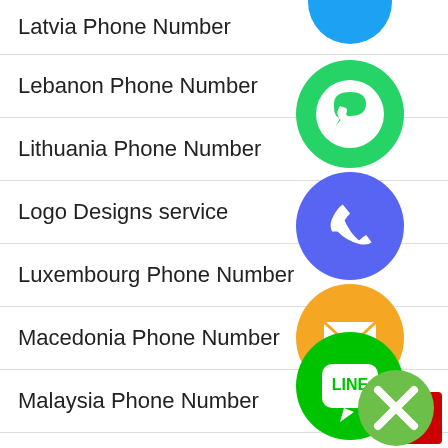Latvia Phone Number
Lebanon Phone Number
Lithuania Phone Number
Logo Designs service
Luxembourg Phone Number
Macedonia Phone Number
Malaysia Phone Number
Mexico Phone Number
Nepal Phone Number
[Figure (infographic): Stack of social/messaging app icons: blue circle (top, partially cut), green WhatsApp icon, blue/purple phone call icon, orange email/envelope icon, green LINE messaging icon, purple Viber icon, green X close button icon]